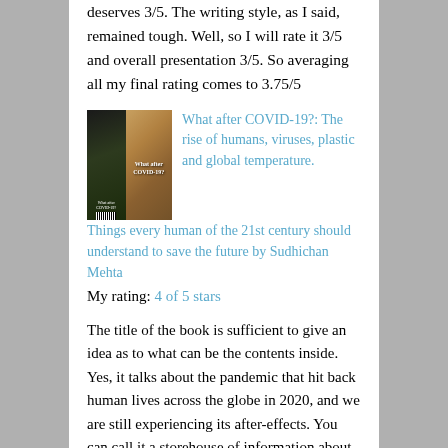deserves 3/5. The writing style, as I said, remained tough. Well, so I will rate it 3/5 and overall presentation 3/5. So averaging all my final rating comes to 3.75/5
[Figure (photo): Book cover of 'What after COVID-19?' showing a dark left panel with green/dark imagery and a tan/brown right panel with the book title text]
What after COVID-19?: The rise of humans, viruses, plastic and global temperature. Things every human of the 21st century should understand to save the future by Sudhichan Mehta
My rating: 4 of 5 stars
The title of the book is sufficient to give an idea as to what can be the contents inside. Yes, it talks about the pandemic that hit back human lives across the globe in 2020, and we are still experiencing its after-effects. You can call it a storehouse of information about COVID-19, its after-effects and also about the Vaccine and money the industry made out of